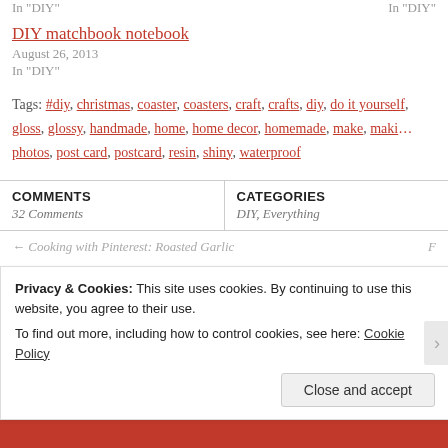In "DIY"   In "DIY"
DIY matchbook notebook
August 26, 2013
In "DIY"
Tags: #diy, christmas, coaster, coasters, craft, crafts, diy, do it yourself, gloss, glossy, handmade, home, home decor, homemade, make, making, photos, post card, postcard, resin, shiny, waterproof
| COMMENTS | CATEGORIES |
| --- | --- |
| 32 Comments | DIY, Everything |
← Cooking with Pinterest: Roasted Garlic
Privacy & Cookies: This site uses cookies. By continuing to use this website, you agree to their use.
To find out more, including how to control cookies, see here: Cookie Policy
Close and accept